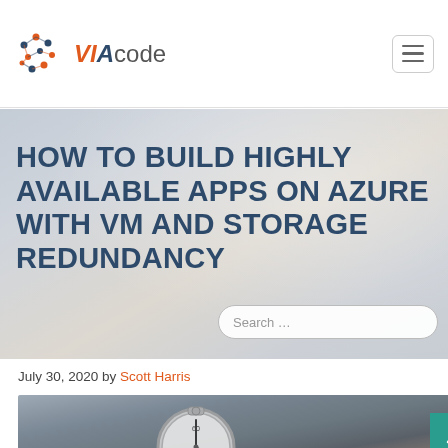VIAcode
HOW TO BUILD HIGHLY AVAILABLE APPS ON AZURE WITH VM AND STORAGE REDUNDANCY
July 30, 2020 by Scott Harris
[Figure (photo): A hand holding a silver pocket stopwatch, close-up photograph]
[Figure (logo): VIAcode company logo with abstract dot network graphic and orange/blue text]